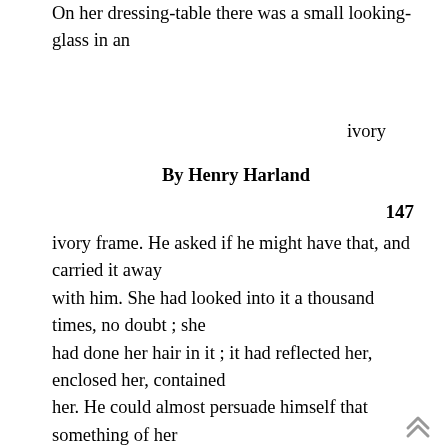On her dressing-table there was a small looking-glass in an
ivory
By Henry Harland
147
ivory frame. He asked if he might have that, and carried it away with him. She had looked into it a thousand times, no doubt ; she had done her hair in it ; it had reflected her, enclosed her, contained her. He could almost persuade himself that something of her must remain in it. To own it was like owning something of herself. He carried it home with him, hugging it